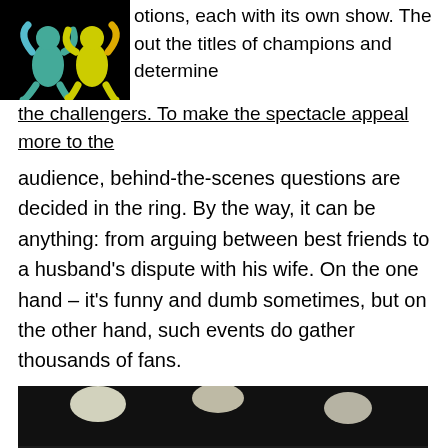otions, each with its own show. The out the titles of champions and determine the challengers. To make the spectacle appeal more to the audience, behind-the-scenes questions are decided in the ring. By the way, it can be anything: from arguing between best friends to a husband's dispute with his wife. On the one hand – it's funny and dumb sometimes, but on the other hand, such events do gather thousands of fans.
[Figure (photo): Two MMA fighters in a ring, one throwing a punch at the other, photographed in a dark gym with overhead lights.]